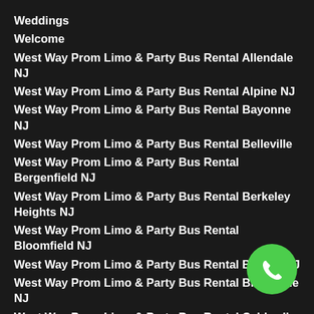Weddings
Welcome
West Way Prom Limo & Party Bus Rental Allendale NJ
West Way Prom Limo & Party Bus Rental Alpine NJ
West Way Prom Limo & Party Bus Rental Bayonne NJ
West Way Prom Limo & Party Bus Rental Belleville
West Way Prom Limo & Party Bus Rental Bergenfield NJ
West Way Prom Limo & Party Bus Rental Berkeley Heights NJ
West Way Prom Limo & Party Bus Rental Bloomfield NJ
West Way Prom Limo & Party Bus Rental Bogota NJ
West Way Prom Limo & Party Bus Rental Brookdale NJ
West Way Prom Limo & Party Bus Rental Caldwell NJ
West Way Prom Limo & Party Bus Rental Carlstadt NJ
West Way Prom Limo & Party Bus Rental Cedar Grove NJ
West Way Prom Limo & Party Bus Rental Clark NJ